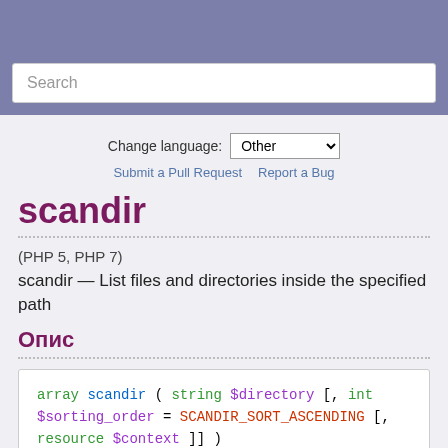Search
Change language: Other
Submit a Pull Request   Report a Bug
scandir
(PHP 5, PHP 7)
scandir — List files and directories inside the specified path
Опис